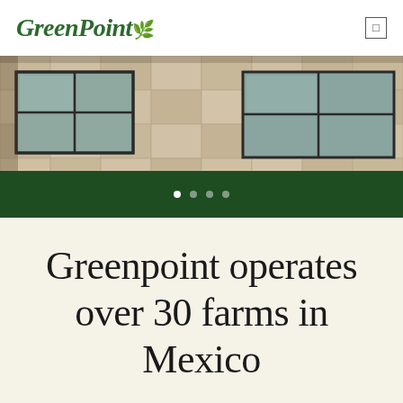GreenPoint
[Figure (photo): Exterior photo of a building facade with stone/tile cladding and dark-framed windows]
Greenpoint operates over 30 farms in Mexico